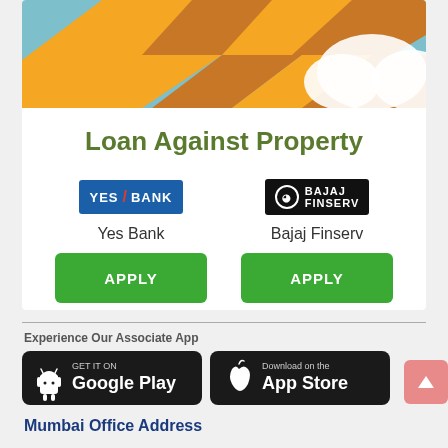[Figure (illustration): Decorative illustration with orange/brown lightning bolt arrows on a teal/sky blue background with white clouds]
Loan Against Property
[Figure (logo): YES BANK logo - blue rectangle with white text YES/BANK, red slash]
Yes Bank
APPLY
[Figure (logo): BAJAJ FINSERV logo - black rectangle with circular icon and white text]
Bajaj Finserv
APPLY
Experience Our Associate App
[Figure (logo): GET IT ON Google Play button - dark rounded rectangle]
[Figure (logo): Download on the App Store button - dark rounded rectangle]
Mumbai Office Address